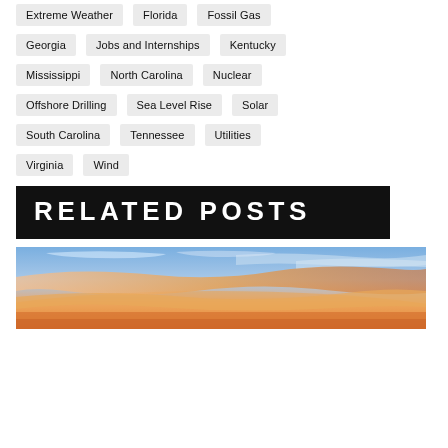Extreme Weather
Florida
Fossil Gas
Georgia
Jobs and Internships
Kentucky
Mississippi
North Carolina
Nuclear
Offshore Drilling
Sea Level Rise
Solar
South Carolina
Tennessee
Utilities
Virginia
Wind
RELATED POSTS
[Figure (photo): Sunset sky with orange and golden clouds over blue sky]